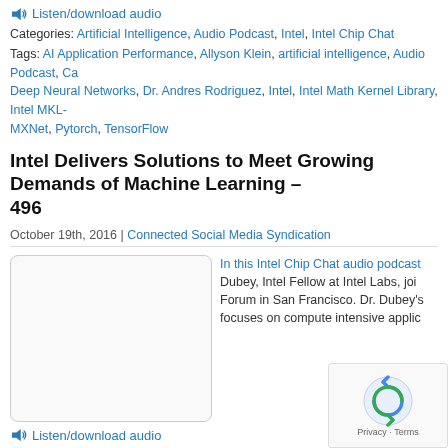Listen/download audio
Categories: Artificial Intelligence, Audio Podcast, Intel, Intel Chip Chat
Tags: AI Application Performance, Allyson Klein, artificial intelligence, Audio Podcast, Ca... Deep Neural Networks, Dr. Andres Rodriguez, Intel, Intel Math Kernel Library, Intel MKL-... MXNet, Pytorch, TensorFlow
Intel Delivers Solutions to Meet Growing Demands of Machine Learning – 496
October 19th, 2016 | Connected Social Media Syndication
[Figure (other): Audio player placeholder box]
In this Intel Chip Chat audio podcast... Dubey, Intel Fellow at Intel Labs, joi... Forum in San Francisco. Dr. Dubey's... focuses on compute intensive applic...
Listen/download audio
Categories: Audio Podcast, Intel, Intel Chip Chat
Tags: Allyson Klein, Audio Podcast, Chip Chat, Deep Neural Networks, Dr. Pradeep Dub... Kernel Library, Intel MKL-DNN, Intel Xeon Processors, machine learning
[Figure (other): reCAPTCHA privacy widget with recycling icon]